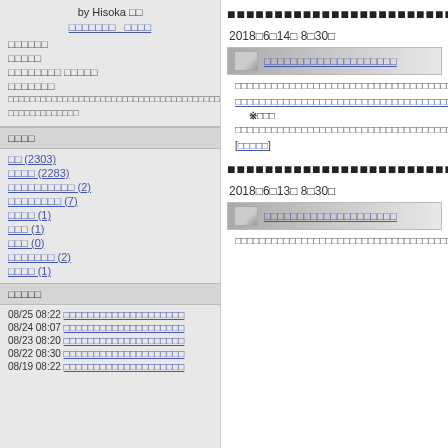by Hisoka □□
□□□□□□□  □□□□
□□□□□□
□□□□□
□□□□□□□□ □□□□□
□□□□□□□
□□□□□□□□□□□□□□□□□□□□□□□□□□□□□□□□□□□□□□□□□□□□□□□□□□□□□□□□□□□□□□□□□□□
□□□□
□□ (2303)
□□□□ (2283)
□□□□□□□□□□ (2)
□□□□□□□□ (7)
□□□□ (1)
□□□ (1)
□□□ (0)
□□□□□□□ (2)
□□□□ (1)
□□□□□
08/25 08:22 □□□□□□□□□□□□□□□□□□□□
08/24 08:07 □□□□□□□□□□□□□□□□□□□□
08/23 08:20 □□□□□□□□□□□□□□□□□□□□
08/22 08:30 □□□□□□□□□□□□□□□□□□□□
08/19 08:22 □□□□□□□□□□□□□□□□□□□□
2018□6□14□ 8□30□
□□□□□□□□□□□□□□□□□□□□
□□□□□□□□□□□□□□□□□□□□□□□□□□□□□□□□□□□□□□□□□□□□□□
□□□□□□□□□□□□□□□□□□□□□□□□□□□□□□□□□□□□□□□□□□□□□□□□□□□□□□□□□□
※□□□
□□□□□□□□□□□□□□□□□□□□□□□□□□□□□□□□□□□□□□□□□□□□□□□□□□□□□□□□□□
[□□□□□]
2018□6□13□ 8□30□
□□□□□□□□□□□□□□□□□□□□
□□□□□□□□□□□□□□□□□□□□□□□□□□□□□□□□□□□□□□□□□□□□□□